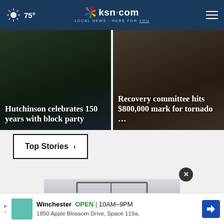75° | ksn.com LOCAL NEWS · HERE FOR YOU
[Figure (screenshot): News card: Hutchinson celebrates 150 years with block party — dark photo of crowd]
[Figure (screenshot): News card: Recovery committee hits $800,000 mark for tornado — photo of storm damage]
Top Stories ›
[Figure (photo): Article photo showing outdoor metal window/gate structure]
Winchester  OPEN | 10AM–9PM
1850 Apple Blossom Drive, Space 119a,